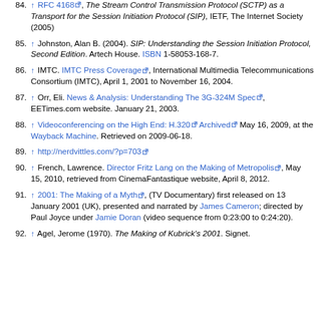84. ↑ RFC 4168, The Stream Control Transmission Protocol (SCTP) as a Transport for the Session Initiation Protocol (SIP), IETF, The Internet Society (2005)
85. ↑ Johnston, Alan B. (2004). SIP: Understanding the Session Initiation Protocol, Second Edition. Artech House. ISBN 1-58053-168-7.
86. ↑ IMTC. IMTC Press Coverage, International Multimedia Telecommunications Consortium (IMTC), April 1, 2001 to November 16, 2004.
87. ↑ Orr, Eli. News & Analysis: Understanding The 3G-324M Spec, EETimes.com website. January 21, 2003.
88. ↑ Videoconferencing on the High End: H.320 Archived May 16, 2009, at the Wayback Machine. Retrieved on 2009-06-18.
89. ↑ http://nerdvittles.com/?p=703
90. ↑ French, Lawrence. Director Fritz Lang on the Making of Metropolis, May 15, 2010, retrieved from CinemaFantastique website, April 8, 2012.
91. ↑ 2001: The Making of a Myth, (TV Documentary) first released on 13 January 2001 (UK), presented and narrated by James Cameron; directed by Paul Joyce under Jamie Doran (video sequence from 0:23:00 to 0:24:20).
92. ↑ Agel, Jerome (1970). The Making of Kubrick's 2001. Signet.